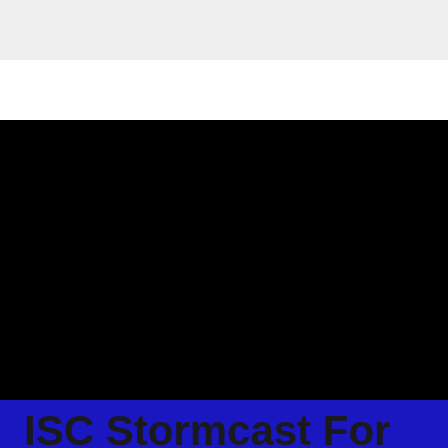[Figure (other): Black background image block — appears to be a dark/black thumbnail or video frame, likely a podcast or broadcast cover image]
ISC Stormcast For Monday,